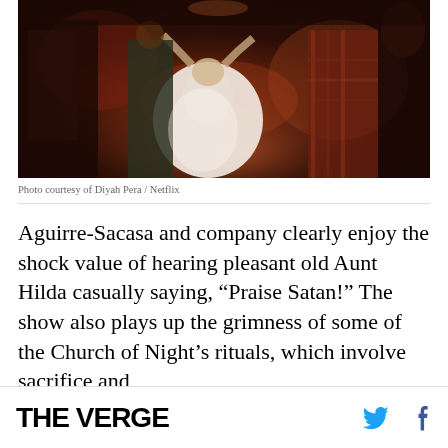[Figure (photo): Wedding or formal dance scene with a woman in a white ball gown dancing with others in a dimly lit venue with red/warm lighting. A person in tartan/plaid is visible on the right.]
Photo courtesy of Diyah Pera / Netflix
Aguirre-Sacasa and company clearly enjoy the shock value of hearing pleasant old Aunt Hilda casually saying, “Praise Satan!” The show also plays up the grimness of some of the Church of Night’s rituals, which involve sacrifice and
THE VERGE